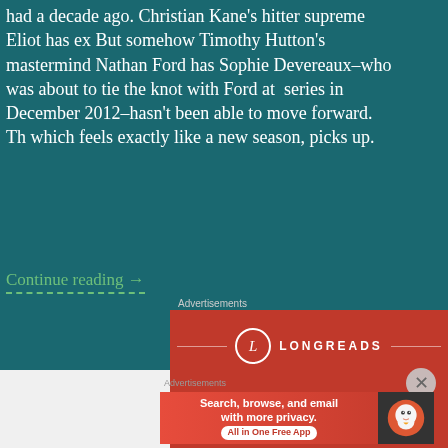had a decade ago. Christian Kane's hitter supreme Eliot has ex But somehow Timothy Hutton's mastermind Nathan Ford has Sophie Devereaux–who was about to tie the knot with Ford at series in December 2012–hasn't been able to move forward. Th which feels exactly like a new season, picks up.
Continue reading →
Advertisements
[Figure (screenshot): Longreads advertisement: red background with Longreads logo and tagline 'The best stories on the web – ours, and everyone else's.' with a 'Start reading' button]
Advertisements
[Figure (screenshot): DuckDuckGo advertisement: 'Search, browse, and email with more privacy. All in One Free App' with DuckDuckGo duck logo]